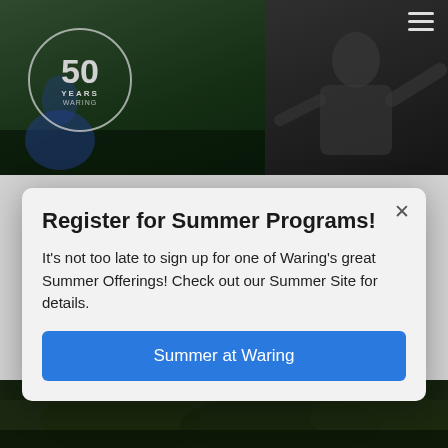[Figure (screenshot): Website header with three photo sections: left shows sports photo with 50 years anniversary badge, middle shows a speaker/presenter silhouette, right shows a group photo. Hamburger menu icon in top right.]
Register for Summer Programs!
It's not too late to sign up for one of Waring's great Summer Offerings! Check out our Summer Site for details.
Summer at Waring
2021 Faculty Grant Program Award Recipients
By Laura Bitler on 03/15/2022
[Figure (photo): Bottom portion of an outdoor nature photo, partially visible at the bottom of the page.]